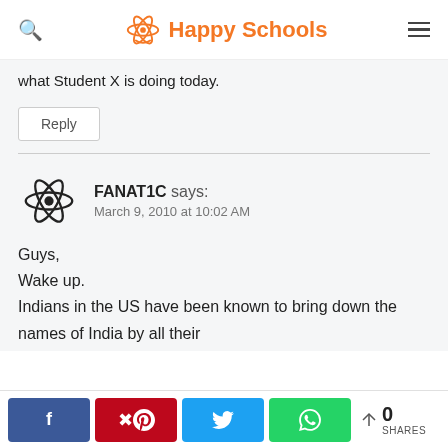Happy Schools
what Student X is doing today.
Reply
FANAT1C says:
March 9, 2010 at 10:02 AM
Guys,
Wake up.
Indians in the US have been known to bring down the names of India by all their
0 SHARES